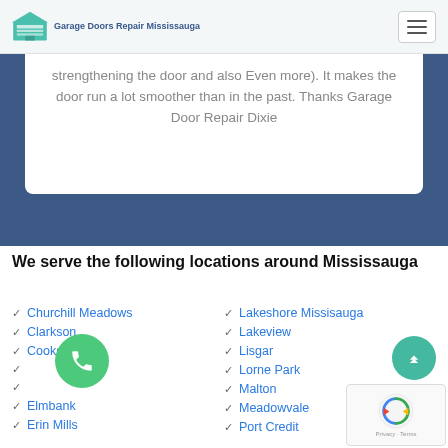Garage Doors Repair Mississauga
strengthening the door and also Even more). It makes the door run a lot smoother than in the past. Thanks Garage Door Repair Dixie
We serve the following locations around Mississauga
Churchill Meadows
Clarkson
Cooksville
Elmbank
Erin Mills
Lakeshore Missisauga
Lakeview
Lisgar
Lorne Park
Malton
Meadowvale
Port Credit